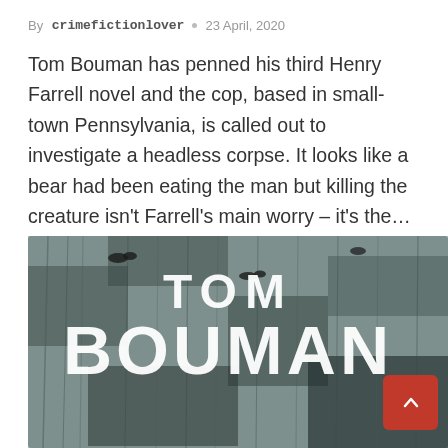By crimefictionlover ○ 23 April, 2020
Tom Bouman has penned his third Henry Farrell novel and the cop, based in small-town Pennsylvania, is called out to investigate a headless corpse. It looks like a bear had been eating the man but killing the creature isn't Farrell's main worry – it's the…
[Figure (photo): Book cover image showing 'TOM BOUMAN' text in large white letters over a dark, moody background with birds and a textured, wintry scene.]